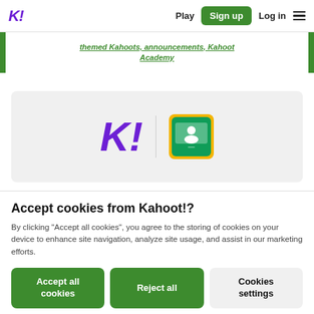K! Play Sign up Log in ☰
themed Kahoots, announcements, Kahoot Academy
[Figure (logo): Kahoot! logo (purple K!) and Google Classroom icon side by side on a light grey card]
Accept cookies from Kahoot!?
By clicking "Accept all cookies", you agree to the storing of cookies on your device to enhance site navigation, analyze site usage, and assist in our marketing efforts.
Accept all cookies | Reject all | Cookies settings